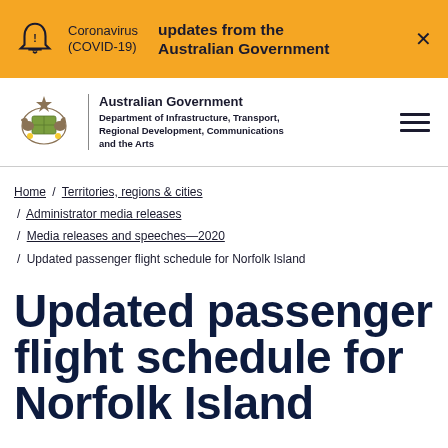Coronavirus (COVID-19) updates from the Australian Government
[Figure (logo): Australian Government coat of arms logo with department name: Australian Government, Department of Infrastructure, Transport, Regional Development, Communications and the Arts]
Home / Territories, regions & cities / Administrator media releases / Media releases and speeches—2020 / Updated passenger flight schedule for Norfolk Island
Updated passenger flight schedule for Norfolk Island